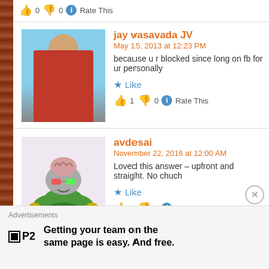👍 0 👎 0 ℹ Rate This
[Figure (photo): Profile photo of jay vasavada JV - person in red shirt outdoors with mountains/sky background]
jay vasavada JV
May 15, 2013 at 12:23 PM
because u r blocked since long on fb for ur personally
★ Like
👍 1 👎 0 ℹ Rate This
[Figure (illustration): Cartoon avatar of avdesai - colorful cartoon dinosaur/alien creature with brain and sunglasses]
avdesai
November 22, 2016 at 12:00 AM
Loved this answer – upfront and straight. No chuch
★ Like
👍 0 👎 0 ℹ Rate This
Advertisements
Getting your team on the same page is easy. And free.